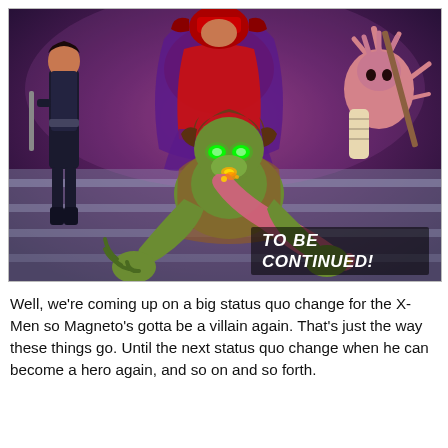[Figure (illustration): Comic book panel showing Marvel characters including Magneto seated in purple costume with red and black armor, a female character in black tactical suit on the left, a pink spiky creature on the right, and a green-skinned beast character crouching in the foreground with a long curling tongue and glowing green eyes. Text overlay reads 'TO BE CONTINUED!' in white bold italic lettering.]
Well, we're coming up on a big status quo change for the X-Men so Magneto's gotta be a villain again. That's just the way these things go. Until the next status quo change when he can become a hero again, and so on and so forth.